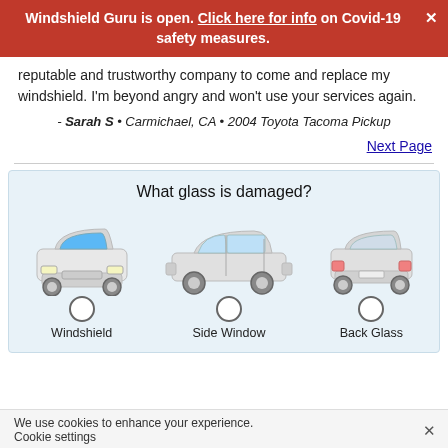Windshield Guru is open. Click here for info on Covid-19 safety measures.
reputable and trustworthy company to come and replace my windshield. I'm beyond angry and won't use your services again.
- Sarah S • Carmichael, CA • 2004 Toyota Tacoma Pickup
Next Page
[Figure (infographic): Interactive widget asking 'What glass is damaged?' with three car illustration options: front view car (Windshield), side view car (Side Window), and rear view car (Back Glass), each with a radio button below.]
We use cookies to enhance your experience. Cookie settings